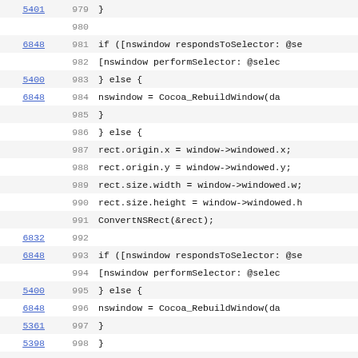Source code viewer showing lines 979-1001 with line numbers and coverage links
| link | line | code |
| --- | --- | --- |
| 5401 | 979 | } |
|  | 980 |  |
| 6848 | 981 |         if ([nswindow respondsToSelector: @se |
|  | 982 |             [nswindow performSelector: @selec |
| 5400 | 983 |         } else { |
| 6848 | 984 |             nswindow = Cocoa_RebuildWindow(da |
|  | 985 |             } |
|  | 986 |     } else { |
|  | 987 |         rect.origin.x = window->windowed.x; |
|  | 988 |         rect.origin.y = window->windowed.y; |
|  | 989 |         rect.size.width = window->windowed.w; |
|  | 990 |         rect.size.height = window->windowed.h |
|  | 991 |         ConvertNSRect(&rect); |
| 6832 | 992 |  |
| 6848 | 993 |         if ([nswindow respondsToSelector: @se |
|  | 994 |             [nswindow performSelector: @selec |
| 5400 | 995 |         } else { |
| 6848 | 996 |             nswindow = Cocoa_RebuildWindow(da |
| 5361 | 997 |             } |
| 5398 | 998 |     } |
| 6848 | 999 |  |
|  | 1000 |     /* The view responder chain gets messed w |
|  | 1001 |     if ([[nswindow contentView] nextResponder |